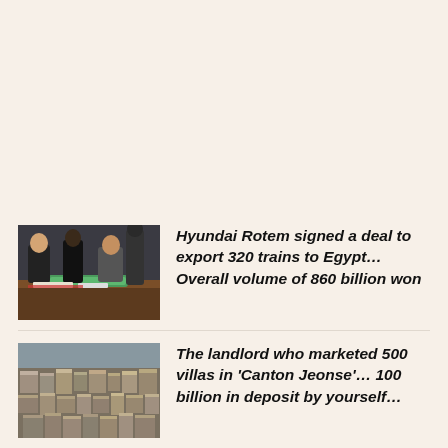[Figure (photo): Photo of people in suits signing a document at a table, with a model train visible on the table. Business signing ceremony.]
Hyundai Rotem signed a deal to export 320 trains to Egypt… Overall volume of 860 billion won
[Figure (photo): Aerial photo of a dense urban residential area with many buildings and villas.]
The landlord who marketed 500 villas in 'Canton Jeonse'… 100 billion in deposit by yourself…